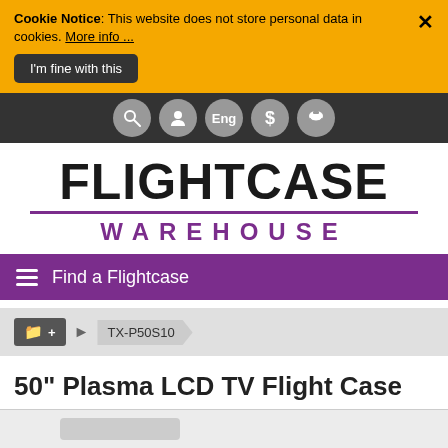Cookie Notice: This website does not store personal data in cookies. More info ...
I'm fine with this
FLIGHTCASE WAREHOUSE
Find a Flightcase
TX-P50S10
50" Plasma LCD TV Flight Case for Panasonic TX-P50S10